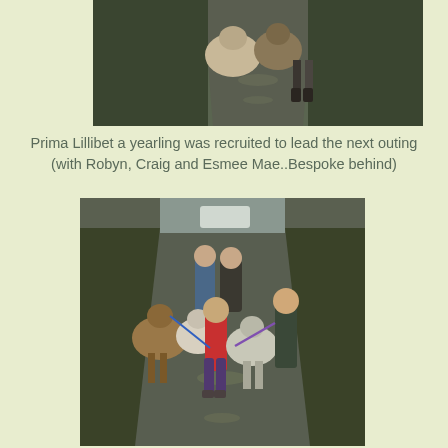[Figure (photo): Alpacas and a person walking down a narrow country lane, viewed from behind, with hedgerows on either side. The ground is wet and mossy.]
Prima Lillibet a yearling was recruited to lead the next outing (with Robyn, Craig and Esmee Mae..Bespoke behind)
[Figure (photo): A group of people walking alpacas down a narrow country lane. A young girl in a red jacket and purple trousers leads a brown alpaca, a woman on the right holds a purple lead, and two adults walk behind among several alpacas. Hedgerows line both sides of the lane.]